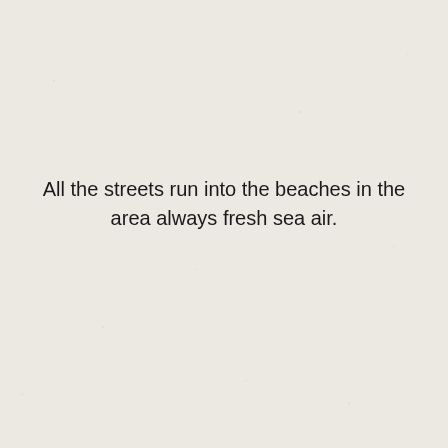All the streets run into the beaches in the area always fresh sea air.